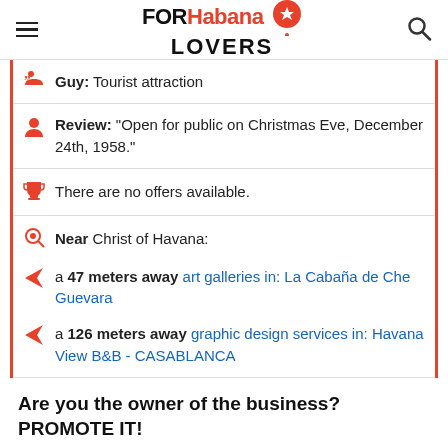FOR Habana LOVERS
Guy: Tourist attraction
Review: "Open for public on Christmas Eve, December 24th, 1958."
There are no offers available.
Near Christ of Havana:
a 47 meters away art galleries in: La Cabaña de Che Guevara
a 126 meters away graphic design services in: Havana View B&B - CASABLANCA
Are you the owner of the business? PROMOTE IT!